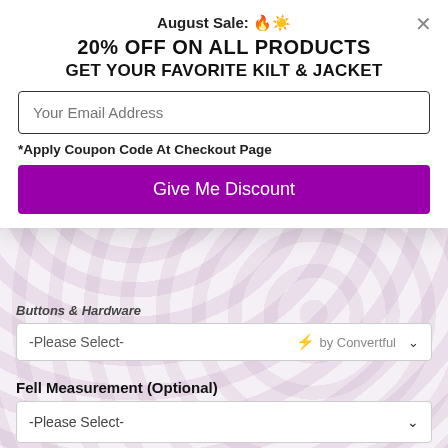August Sale: 🔥☀️
20% OFF ON ALL PRODUCTS
GET YOUR FAVORITE KILT & JACKET
Your Email Address
*Apply Coupon Code At Checkout Page
Give Me Discount
Buttons & Hardware
-Please Select-  ⚡ by Convertful
Fell Measurement (Optional)
-Please Select-
Hip Size (Optional)
-Please Select-